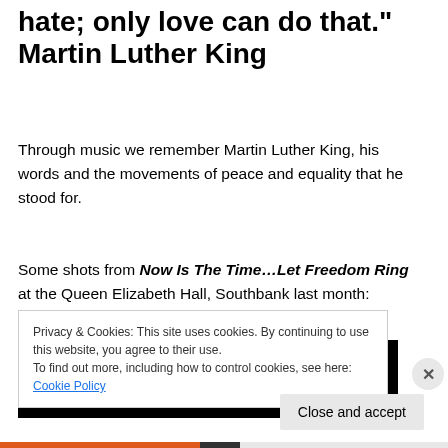hate; only love can do that." Martin Luther King
Through music we remember Martin Luther King, his words and the movements of peace and equality that he stood for.
Some shots from Now Is The Time...Let Freedom Ring at the Queen Elizabeth Hall, Southbank last month:
[Figure (photo): Dark/black background with scattered blue-white light dots, appears to be a performance or stage photo]
Privacy & Cookies: This site uses cookies. By continuing to use this website, you agree to their use.
To find out more, including how to control cookies, see here: Cookie Policy
Close and accept